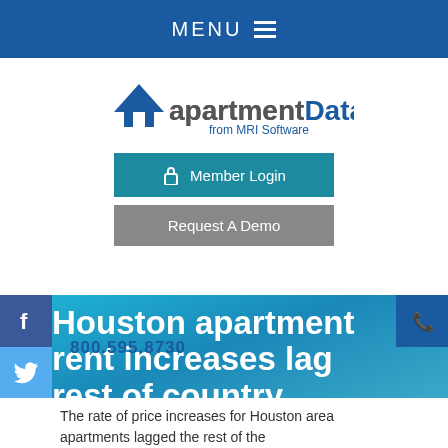MENU
[Figure (logo): ApartmentData.com from MRI Software logo with blue triangle/house icon]
Member Login
Request A Demo
Houston apartment rent increases lag rest of country
Home > In The News >
Houston apartment rent increases lag rest of country
The rate of price increases for Houston area apartments lagged the rest of the